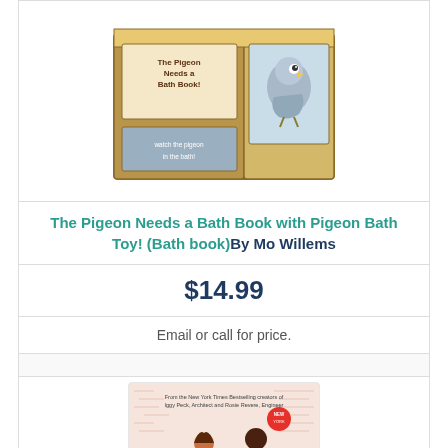[Figure (photo): Photo of 'The Pigeon Needs a Bath Book with Pigeon Bath Toy!' product box set, showing a box with a pigeon book and a rubber duck-style pigeon bath toy.]
The Pigeon Needs a Bath Book with Pigeon Bath Toy! (Bath book)By Mo Willems
$14.99
Email or call for price.
[Figure (photo): Cover of 'Ada Twist' book showing illustrated children against a patterned background.]